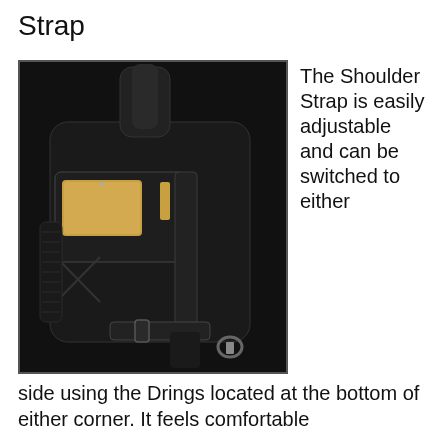Strap
[Figure (photo): A black sling crossbody shoulder bag with a gold-colored tablet/phone visible in the front pocket, mesh side pocket, adjustable strap with buckle, and D-ring at the bottom corner.]
The Shoulder Strap is easily adjustable and can be switched to either side using the Drings located at the bottom of either corner. It feels comfortable